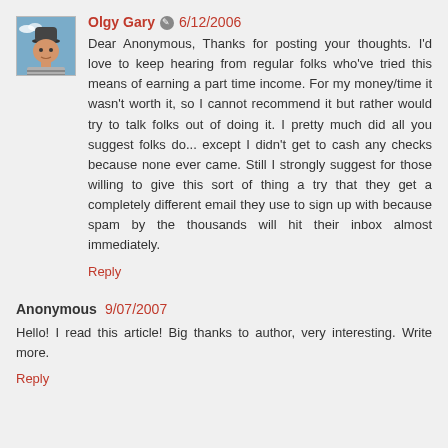Olgy Gary 6/12/2006
Dear Anonymous, Thanks for posting your thoughts. I'd love to keep hearing from regular folks who've tried this means of earning a part time income. For my money/time it wasn't worth it, so I cannot recommend it but rather would try to talk folks out of doing it. I pretty much did all you suggest folks do... except I didn't get to cash any checks because none ever came. Still I strongly suggest for those willing to give this sort of thing a try that they get a completely different email they use to sign up with because spam by the thousands will hit their inbox almost immediately.
Reply
Anonymous 9/07/2007
Hello! I read this article! Big thanks to author, very interesting. Write more.
Reply